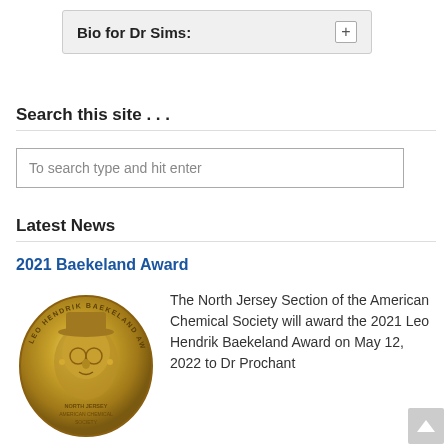Bio for Dr Sims:
Search this site . . .
To search type and hit enter
Latest News
2021 Baekeland Award
[Figure (photo): Gold medal showing the Leo Hendrik Baekeland Award with a portrait bust engraved on the face of the medal, text reading LEO HENDRIK BAEKELAND AWARD around the rim]
The North Jersey Section of the American Chemical Society will award the 2021 Leo Hendrik Baekeland Award on May 12, 2022 to Dr Prochant